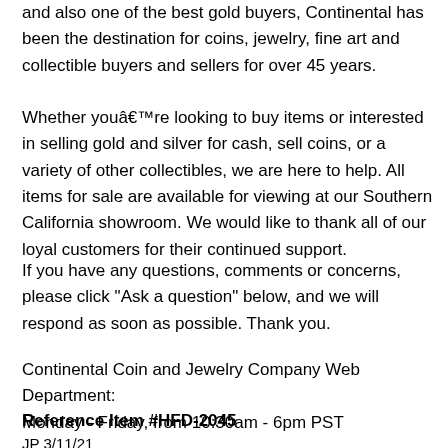and also one of the best gold buyers, Continental has been the destination for coins, jewelry, fine art and collectible buyers and sellers for over 45 years.
Whether youâre looking to buy items or interested in selling gold and silver for cash, sell coins, or a variety of other collectibles, we are here to help. All items for sale are available for viewing at our Southern California showroom. We would like to thank all of our loyal customers for their continued support.
If you have any questions, comments or concerns, please click "Ask a question" below, and we will respond as soon as possible. Thank you.
Continental Coin and Jewelry Company Web Department:
Monday - Friday, from 10:30am - 6pm PST
Reference Item #HFD-2045
JP 3/11/21